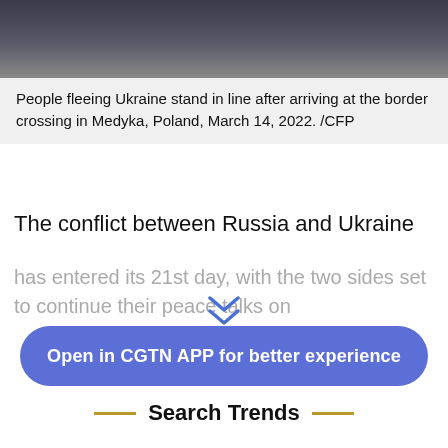[Figure (photo): People at a border crossing, dark/muted tones]
People fleeing Ukraine stand in line after arriving at the border crossing in Medyka, Poland, March 14, 2022. /CFP
The conflict between Russia and Ukraine
has entered its 21st day, with the two sides set to continue their peace talks on
Open in CGTN APP for better experience
Search Trends